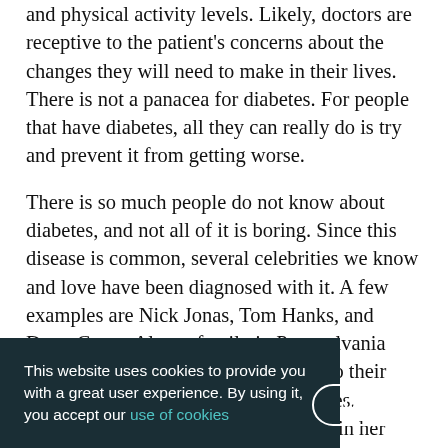and physical activity levels. Likely, doctors are receptive to the patient's concerns about the changes they will need to make in their lives. There is not a panacea for diabetes. For people that have diabetes, all they can really do is try and prevent it from getting worse.
There is so much people do not know about diabetes, and not all of it is boring. Since this disease is common, several celebrities we know and love have been diagnosed with it. A few examples are Nick Jonas, Tom Hanks, and Drew Carey. Also, a family in Pennsylvania seemed to have an unusual response to their daughter being diagnosed with diabetes. Sixteen year old Shannon Nixon died in her home because her parents refused to use the medicine from the doctors and died because prayer instead. They were later ... because ... another note, ... s and studies ... Harvard showed that eating one serving of cooked oatmeal two to
This website uses cookies to provide you with a great user experience. By using it, you accept our use of cookies